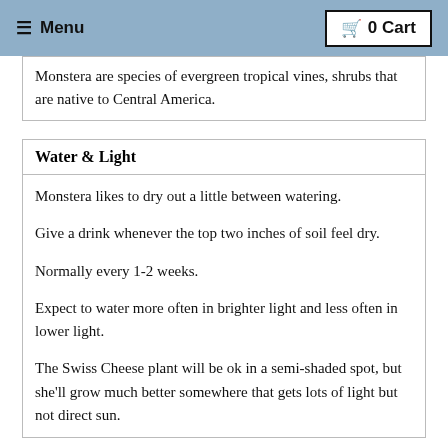≡ Menu   🛒 0 Cart
Monstera are species of evergreen tropical vines, shrubs that are native to Central America.
Water & Light
Monstera likes to dry out a little between watering.

Give a drink whenever the top two inches of soil feel dry.

Normally every 1-2 weeks.

Expect to water more often in brighter light and less often in lower light.

The Swiss Cheese plant will be ok in a semi-shaded spot, but she'll grow much better somewhere that gets lots of light but not direct sun.
Temperature: